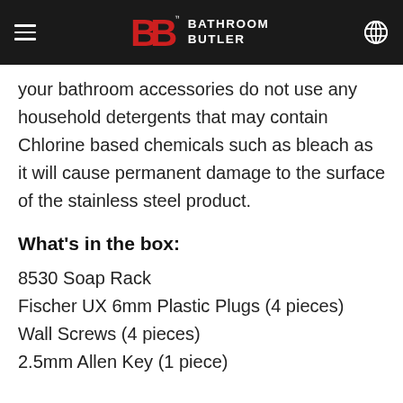BATHROOM BUTLER
your bathroom accessories do not use any household detergents that may contain Chlorine based chemicals such as bleach as it will cause permanent damage to the surface of the stainless steel product.
What's in the box:
8530 Soap Rack
Fischer UX 6mm Plastic Plugs (4 pieces)
Wall Screws (4 pieces)
2.5mm Allen Key (1 piece)